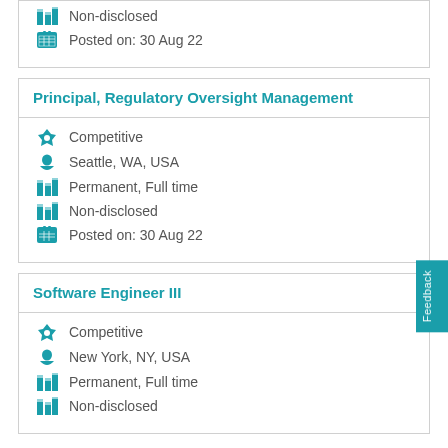Non-disclosed
Posted on:  30 Aug 22
Principal, Regulatory Oversight Management
Competitive
Seattle, WA, USA
Permanent, Full time
Non-disclosed
Posted on:  30 Aug 22
Software Engineer III
Competitive
New York, NY, USA
Permanent, Full time
Non-disclosed